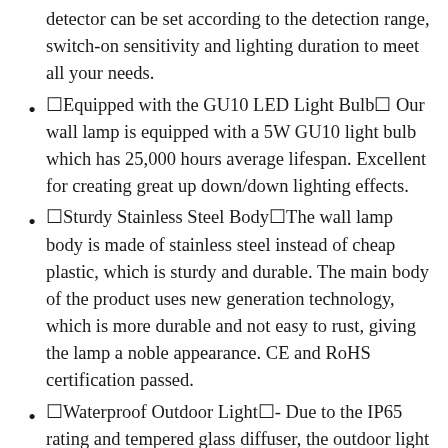detector can be set according to the detection range, switch-on sensitivity and lighting duration to meet all your needs.
🔲Equipped with the GU10 LED Light Bulb🔲 Our wall lamp is equipped with a 5W GU10 light bulb which has 25,000 hours average lifespan. Excellent for creating great up down/down lighting effects.
🔲Sturdy Stainless Steel Body🔲The wall lamp body is made of stainless steel instead of cheap plastic, which is sturdy and durable. The main body of the product uses new generation technology, which is more durable and not easy to rust, giving the lamp a noble appearance. CE and RoHS certification passed.
🔲Waterproof Outdoor Light🔲- Due to the IP65 rating and tempered glass diffuser, the outdoor light is perfect for both indoor and outdoor use.
🔲Wide Application Outdoor Light🔲- The perfect lighting effect of the top and bottom wall lights can create a comfortable atmosphere. ALUSSO outdoor